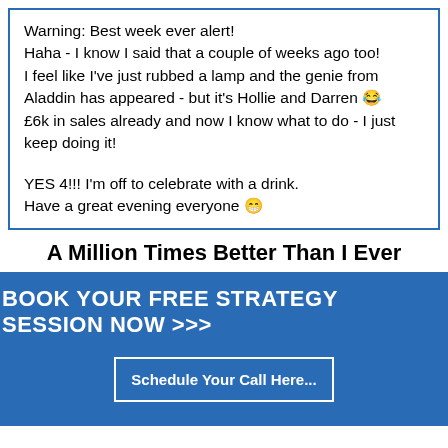Warning: Best week ever alert!
Haha - I know I said that a couple of weeks ago too!
I feel like I've just rubbed a lamp and the genie from Aladdin has appeared - but it's Hollie and Darren 😂
£6k in sales already and now I know what to do - I just keep doing it!

YES 4!!! I'm off to celebrate with a drink.
Have a great evening everyone 😁
A Million Times Better Than I Ever
BOOK YOUR FREE STRATEGY SESSION NOW >>>
Schedule Your Call Here...